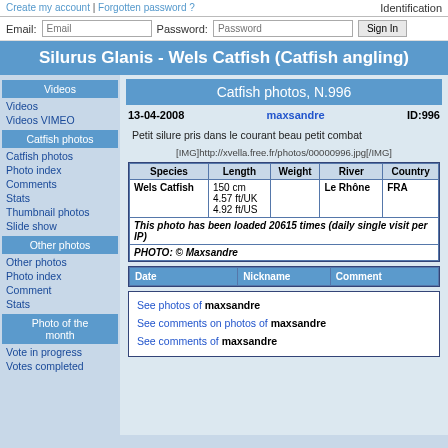Create my account | Forgotten password ?   Identification
Email: [input] Password: [input] Sign In
Silurus Glanis - Wels Catfish (Catfish angling)
Videos
Videos
Videos VIMEO
Catfish photos
Catfish photos
Photo index
Comments
Stats
Thumbnail photos
Slide show
Other photos
Other photos
Photo index
Comment
Stats
Photo of the month
Vote in progress
Votes completed
Catfish photos, N.996
13-04-2008   maxsandre   ID:996
Petit silure pris dans le courant beau petit combat
[IMG]http://xvella.free.fr/photos/00000996.jpg[/IMG]
| Species | Length | Weight | River | Country |
| --- | --- | --- | --- | --- |
| Wels Catfish | 150 cm
4.57 ft/UK
4.92 ft/US |  | Le Rhône | FRA |
This photo has been loaded 20615 times (daily single visit per IP)
PHOTO: © Maxsandre
| Date | Nickname | Comment |
| --- | --- | --- |
See photos of maxsandre
See comments on photos of maxsandre
See comments of maxsandre